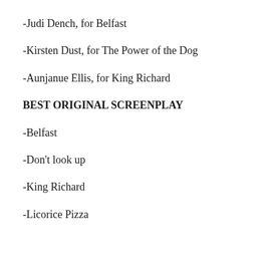-Judi Dench, for Belfast
-Kirsten Dust, for The Power of the Dog
-Aunjanue Ellis, for King Richard
BEST ORIGINAL SCREENPLAY
-Belfast
-Don't look up
-King Richard
-Licorice Pizza